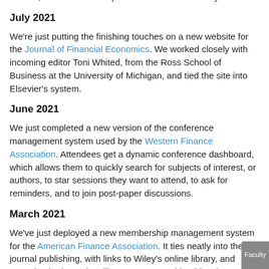we've added a module that helps people plan and track actions, and roll those steps forward into each new year.
July 2021
We're just putting the finishing touches on a new website for the Journal of Financial Economics. We worked closely with incoming editor Toni Whited, from the Ross School of Business at the University of Michigan, and tied the site into Elsevier's system.
June 2021
We just completed a new version of the conference management system used by the Western Finance Association. Attendees get a dynamic conference dashboard, which allows them to quickly search for subjects of interest, or authors, to star sessions they want to attend, to ask for reminders, and to join post-paper discussions.
March 2021
We've just deployed a new membership management system for the American Finance Association. It ties neatly into their journal publishing, with links to Wiley's online library, and smooths the journal mailing process considerably. The AFA's Worldwide Directory of Finance Faculty has been updated as part of the process.